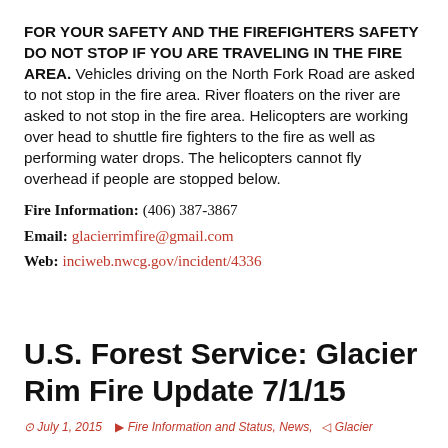FOR YOUR SAFETY AND THE FIREFIGHTERS SAFETY DO NOT STOP IF YOU ARE TRAVELING IN THE FIRE AREA. Vehicles driving on the North Fork Road are asked to not stop in the fire area. River floaters on the river are asked to not stop in the fire area. Helicopters are working over head to shuttle fire fighters to the fire as well as performing water drops. The helicopters cannot fly overhead if people are stopped below.
Fire Information: (406) 387-3867
Email: glacierrimfire@gmail.com
Web: inciweb.nwcg.gov/incident/4336
U.S. Forest Service: Glacier Rim Fire Update 7/1/15
July 1, 2015   Fire Information and Status, News,  Glacier